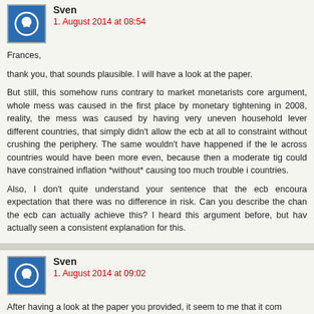Sven
1. August 2014 at 08:54
Frances,

thank you, that sounds plausible. I will have a look at the paper.

But still, this somehow runs contrary to market monetarists core argument, whole mess was caused in the first place by monetary tightening in 2008, reality, the mess was caused by having very uneven household lever different countries, that simply didn't allow the ecb at all to constraint without crushing the periphery. The same wouldn't have happened if the le across countries would have been more even, because then a moderate tig could have constrained inflation *without* causing too much trouble i countries.

Also, I don't quite understand your sentence that the ecb encoura expectation that there was no difference in risk. Can you describe the chan the ecb can actually achieve this? I heard this argument before, but hav actually seen a consistent explanation for this.
Sven
1. August 2014 at 09:02
After having a look at the paper you provided, it seem to me that it com